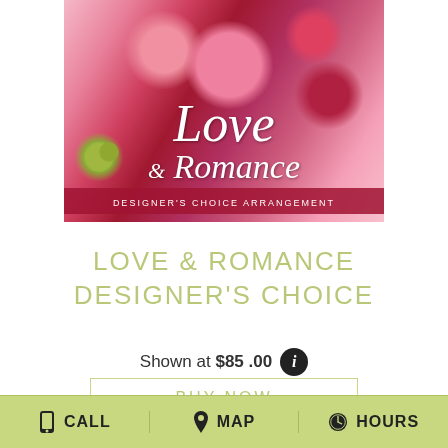[Figure (photo): Floral arrangement photo with pink roses, red orchids, and greenery with 'Love & Romance Designer's Choice Arrangement' text overlay]
LOVE & ROMANCE DESIGNER'S CHOICE
Shown at $85.00
BUY NOW
CALL  MAP  HOURS